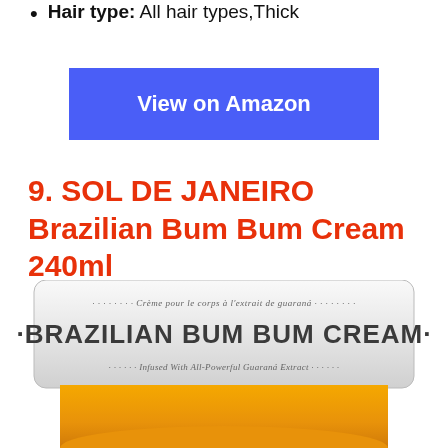Hair type: All hair types,Thick
View on Amazon
9. SOL DE JANEIRO Brazilian Bum Bum Cream 240ml
[Figure (photo): Product photo of Sol de Janeiro Brazilian Bum Bum Cream 240ml jar with white lid showing 'BRAZILIAN BUM BUM CREAM' text and yellow/orange cream visible at the bottom]